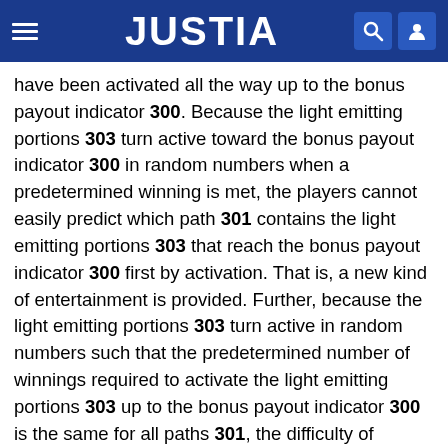JUSTIA
have been activated all the way up to the bonus payout indicator 300. Because the light emitting portions 303 turn active toward the bonus payout indicator 300 in random numbers when a predetermined winning is met, the players cannot easily predict which path 301 contains the light emitting portions 303 that reach the bonus payout indicator 300 first by activation. That is, a new kind of entertainment is provided. Further, because the light emitting portions 303 turn active in random numbers such that the predetermined number of winnings required to activate the light emitting portions 303 up to the bonus payout indicator 300 is the same for all paths 301, the difficulty of activating the light emitting portions 303 to the bonus payout indicator 300 (winning percentage of a bonus game) is perceived as being different in each path 301, while it is actually the same for all paths 301. That is, a new kind of entertainment is